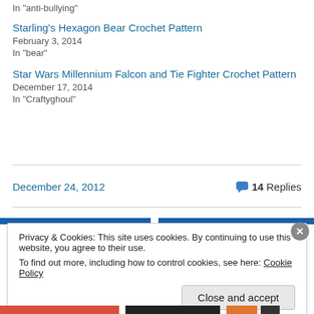In "anti-bullying"
Starling's Hexagon Bear Crochet Pattern
February 3, 2014
In "bear"
Star Wars Millennium Falcon and Tie Fighter Crochet Pattern
December 17, 2014
In "Craftyghoul"
December 24, 2012
14 Replies
Privacy & Cookies: This site uses cookies. By continuing to use this website, you agree to their use.
To find out more, including how to control cookies, see here: Cookie Policy
Close and accept